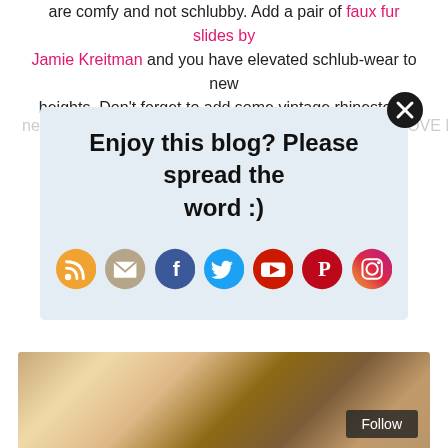are comfy and not schlubby. Add a pair of faux fur slides by Jamie Kreitman and you have elevated schlub-wear to new heights. Don't forget to add some vintage rhinestone necklaces and a crewnecked turban. When does the LOVE NY...
[Figure (infographic): Social sharing overlay with text 'Enjoy this blog? Please spread the word :)' and social media icons for RSS, Email, Facebook, Twitter, YouTube, Pinterest, Instagram. Has a close button in top right corner.]
did it take for me to accept this trend?  I wouldn't dare leave the house wearing this trend and would hang my head in shame. But I see the trend evolving and morphing into possibilities which can be fashion-worthy.
[Figure (photo): Group of young women at a party/event, posed together, photo taken against dark background. Follow button visible in bottom right.]